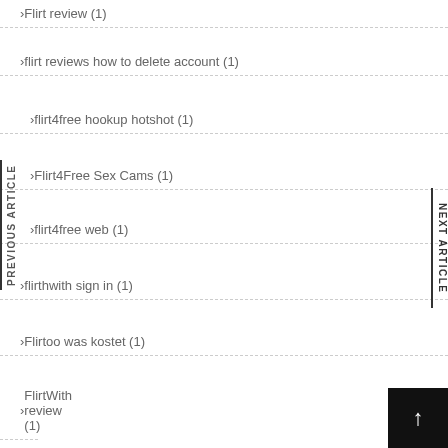Flirt review (1)
flirt reviews how to delete account (1)
flirt4free hookup hotshot (1)
Flirt4Free Sex Cams (1)
flirt4free web (1)
flirthwith sign in (1)
Flirtoo was kostet (1)
FlirtWith review (1)